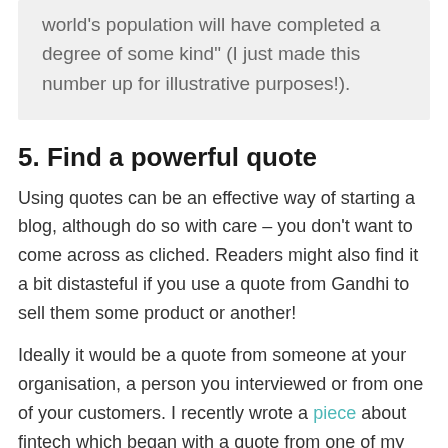world's population will have completed a degree of some kind" (I just made this number up for illustrative purposes!).
5. Find a powerful quote
Using quotes can be an effective way of starting a blog, although do so with care – you don't want to come across as cliched. Readers might also find it a bit distasteful if you use a quote from Gandhi to sell them some product or another!
Ideally it would be a quote from someone at your organisation, a person you interviewed or from one of your customers. I recently wrote a piece about fintech which began with a quote from one of my interviewees